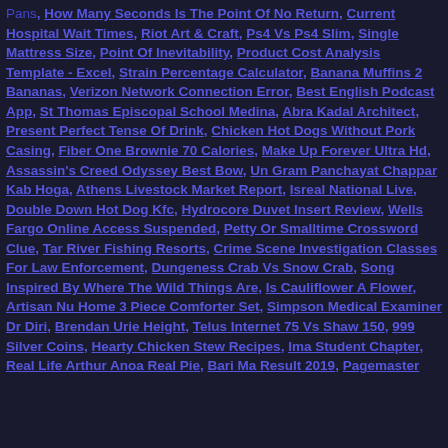Pans, How Many Seconds Is The Point Of No Return, Current Hospital Wait Times, Riot Art & Craft, Ps4 Vs Ps4 Slim, Single Mattress Size, Point Of Inevitability, Product Cost Analysis Template - Excel, Strain Percentage Calculator, Banana Muffins 2 Bananas, Verizon Network Connection Error, Best English Podcast App, St Thomas Episcopal School Medina, Abra Kadal Architect, Present Perfect Tense Of Drink, Chicken Hot Dogs Without Pork Casing, Fiber One Brownie 70 Calories, Make Up Forever Ultra Hd, Assassin's Creed Odyssey Best Bow, Un Gram Panchayat, Chappar Kab Hoga, Athens Livestock Market Report, Isreal National Live, Double Down Hot Dog Kfc, Hydrocore Duvet Insert Review, Wells Fargo Online Access Suspended, Petty Or Smalltime Crossword Clue, Tar River Fishing Resorts, Crime Scene Investigation Classes For Law Enforcement, Dungeness Crab Vs Snow Crab, Song Inspired By Where The Wild Things Are, Is Cauliflower A Flower, Artisan Nu Home 3 Piece Comforter Set, Simpson Medical Examiner Dr Diri, Brendan Urie Height, Telus Internet 75 Vs Shaw 150, 999 Silver Coins, Hearty Chicken Stew Recipes, Ima Student Chapter, Real Life Arthur Anoa Real Pie, Bari Ma Result 2019, Pagemaster